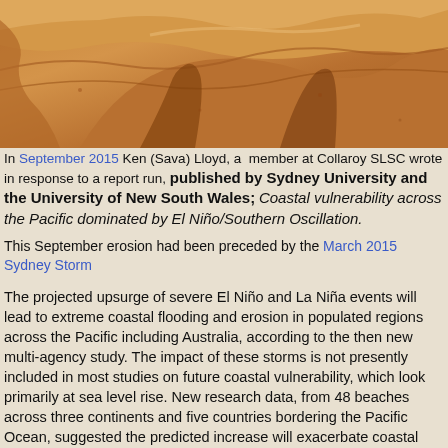[Figure (photo): Close-up photograph of eroded sandy coastal terrain showing carved sand formations and ridges, with warm brown/orange sandy tones.]
In September 2015 Ken (Sava) Lloyd, a member at Collaroy SLSC wrote in response to a report run, published by Sydney University and the University of New South Wales; Coastal vulnerability across the Pacific dominated by El Niño/Southern Oscillation.
This September erosion had been preceded by the March 2015 Sydney Storm
The projected upsurge of severe El Niño and La Niña events will lead to extreme coastal flooding and erosion in populated regions across the Pacific including Australia, according to the then new multi-agency study. The impact of these storms is not presently included in most studies on future coastal vulnerability, which look primarily at sea level rise. New research data, from 48 beaches across three continents and five countries bordering the Pacific Ocean, suggested the predicted increase will exacerbate coastal erosion irrespective of sea level rise affecting the region.